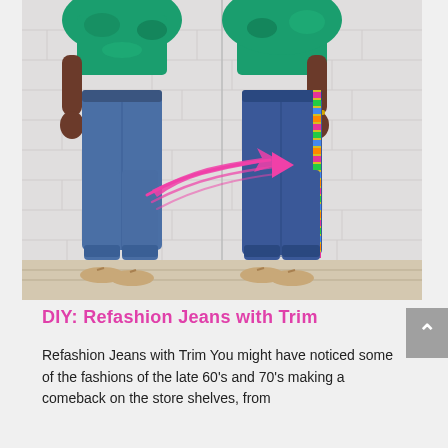[Figure (photo): Before and after comparison photo of jeans. Left side shows plain blue jeans on a person wearing a green tie-dye top and sandals. Right side shows the same jeans refashioned with a colorful decorative trim strip down the side seam. A pink hand-drawn arrow points from left to right indicating the transformation.]
DIY: Refashion Jeans with Trim
Refashion Jeans with Trim  You might have noticed some of the fashions of the late 60's and 70's making a comeback on the store shelves, from